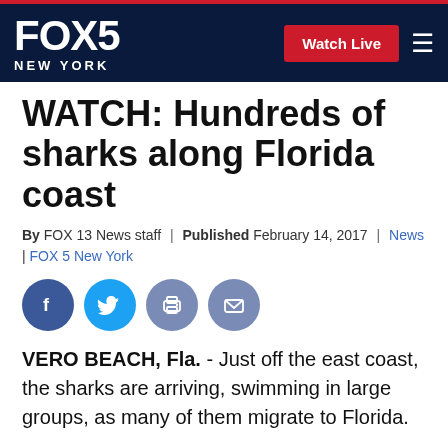FOX 5 NEW YORK | Watch Live
WATCH: Hundreds of sharks along Florida coast
By FOX 13 News staff | Published February 14, 2017 | News | FOX 5 New York
[Figure (infographic): Social share icons: Facebook, Twitter, Print, Email]
VERO BEACH, Fla. - Just off the east coast, the sharks are arriving, swimming in large groups, as many of them migrate to Florida.
Video shot by a drone shows hundreds of sharks, mostly blacktips, coming close to paddleboarders and surfers. "The sharks were never interested in the